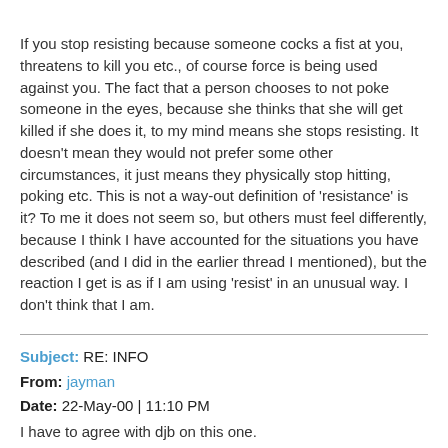If you stop resisting because someone cocks a fist at you, threatens to kill you etc., of course force is being used against you. The fact that a person chooses to not poke someone in the eyes, because she thinks that she will get killed if she does it, to my mind means she stops resisting. It doesn't mean they would not prefer some other circumstances, it just means they physically stop hitting, poking etc. This is not a way-out definition of 'resistance' is it? To me it does not seem so, but others must feel differently, because I think I have accounted for the situations you have described (and I did in the earlier thread I mentioned), but the reaction I get is as if I am using 'resist' in an unusual way. I don't think that I am.
Subject: RE: INFO
From: jayman
Date: 22-May-00 | 11:10 PM
I have to agree with djb on this one.
There are certain legal ramifications as well. It could be